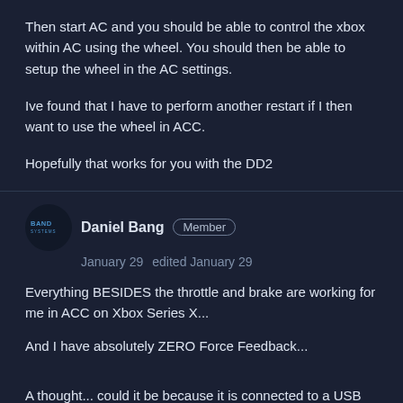Then start AC and you should be able to control the xbox within AC using the wheel. You should then be able to setup the wheel in the AC settings.
Ive found that I have to perform another restart if I then want to use the wheel in ACC.
Hopefully that works for you with the DD2
Daniel Bang  Member
January 29  edited January 29
Everything BESIDES the throttle and brake are working for me in ACC on Xbox Series X...
And I have absolutely ZERO Force Feedback...
A thought... could it be because it is connected to a USB HUB?